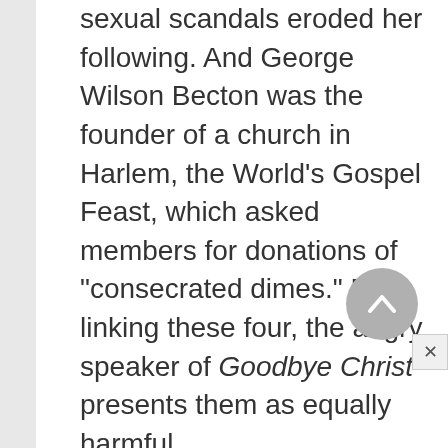sexual scandals eroded her following. And George Wilson Becton was the founder of a church in Harlem, the World's Gospel Feast, which asked members for donations of "consecrated dimes." By linking these four, the angry speaker of Goodbye Christ presents them as equally harmful.

Some twenty-five years later, Hughes's ideas about religion and Marxism had undergone change. He came to admire Gandhi and supported